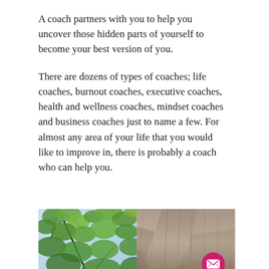A coach partners with you to help you uncover those hidden parts of yourself to become your best version of you.
There are dozens of types of coaches; life coaches, burnout coaches, executive coaches, health and wellness coaches, mindset coaches and business coaches just to name a few. For almost any area of your life that you would like to improve in, there is probably a coach who can help you.
[Figure (photo): A nature photo split into two halves: left side shows green oak/maple leaves against a bright sky with branches; right side shows a rough tree bark or rock texture. A pink/magenta circular email button icon is overlaid in the bottom-right corner of the photo.]